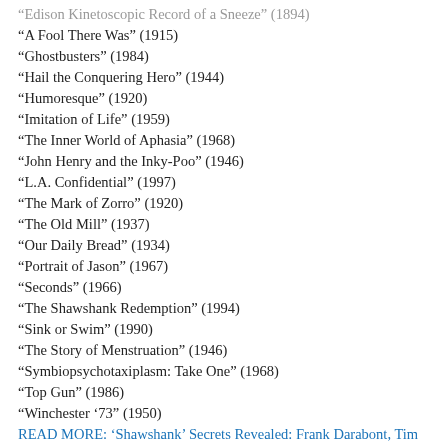“Edison Kinetoscopic Record of a Sneeze” (1894)
“A Fool There Was” (1915)
“Ghostbusters” (1984)
“Hail the Conquering Hero” (1944)
“Humoresque” (1920)
“Imitation of Life” (1959)
“The Inner World of Aphasia” (1968)
“John Henry and the Inky-Poo” (1946)
“L.A. Confidential” (1997)
“The Mark of Zorro” (1920)
“The Old Mill” (1937)
“Our Daily Bread” (1934)
“Portrait of Jason” (1967)
“Seconds” (1966)
“The Shawshank Redemption” (1994)
“Sink or Swim” (1990)
“The Story of Menstruation” (1946)
“Symbiopsychotaxiplasm: Take One” (1968)
“Top Gun” (1986)
“Winchester ’73” (1950)
READ MORE: ‘Shawshank’ Secrets Revealed: Frank Darabont, Tim Robbins and Morgan Freeman Reveal All at